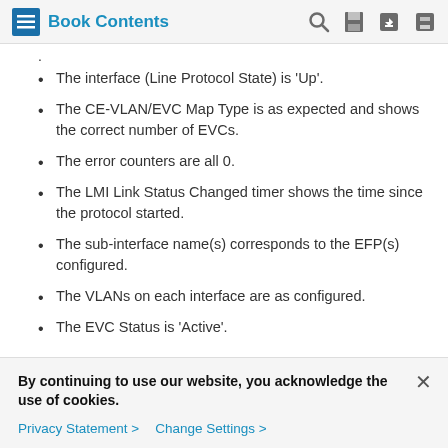Book Contents
The interface (Line Protocol State) is 'Up'.
The CE-VLAN/EVC Map Type is as expected and shows the correct number of EVCs.
The error counters are all 0.
The LMI Link Status Changed timer shows the time since the protocol started.
The sub-interface name(s) corresponds to the EFP(s) configured.
The VLANs on each interface are as configured.
The EVC Status is 'Active'.
By continuing to use our website, you acknowledge the use of cookies.
Privacy Statement > Change Settings >